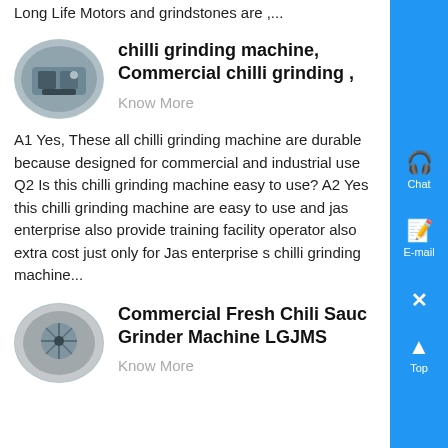Long Life Motors and grindstones are ,...
[Figure (photo): Oval thumbnail photo of a chilli grinding machine outdoor facility]
chilli grinding machine, Commercial chilli grinding ,
Know More
A1 Yes, These all chilli grinding machine are durable because designed for commercial and industrial use Q2 Is this chilli grinding machine easy to use? A2 Yes this chilli grinding machine are easy to use and jas enterprise also provide training facility operator also extra cost just only for Jas enterprise s chilli grinding machine...
[Figure (photo): Oval thumbnail photo of a Commercial Fresh Chili Sauce Grinder Machine LGJMS]
Commercial Fresh Chili Sauce Grinder Machine LGJMS
Know More